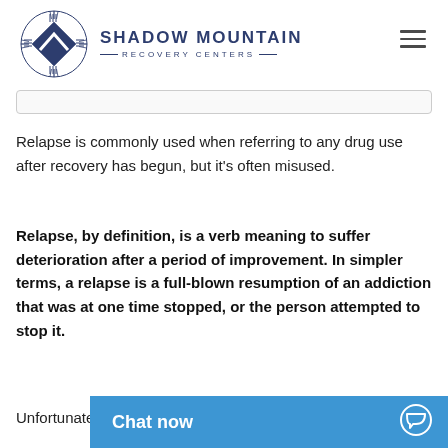Shadow Mountain Recovery Centers
Relapse is commonly used when referring to any drug use after recovery has begun, but it's often misused.
Relapse, by definition, is a verb meaning to suffer deterioration after a period of improvement. In simpler terms, a relapse is a full-blown resumption of an addiction that was at one time stopped, or the person attempted to stop it.
Unfortunately, in m...